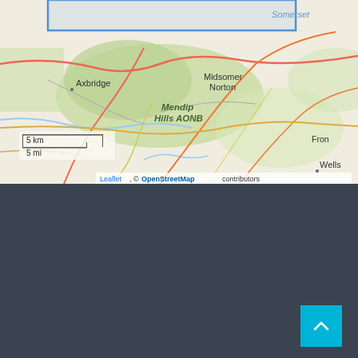[Figure (map): OpenStreetMap showing Somerset area including Axbridge, Mendip Hills AONB, Midsomer Norton, Wells, and Frome. Blue highlighted rectangle in upper portion indicating selected area. Scale bar showing 5 km / 5 mi.]
Leaflet, © OpenStreetMap contributors
VISIT US
Meetings
Every Thursday 19:30 - 22:00
Address
Novers Park Community Assoc
Rear of 124 Novers Park Rd
Bristol, BS4 1RN